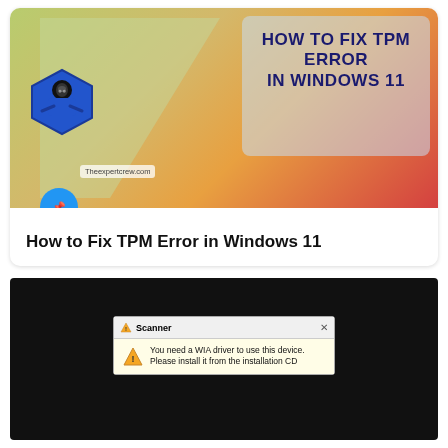[Figure (screenshot): Card thumbnail showing 'How to Fix TPM Error in Windows 11' with a ninja mascot logo on a gradient background (green-yellow-orange-red), a pin/bookmark icon, site watermark 'Theexpertcrew.com', and card title below]
How to Fix TPM Error in Windows 11
[Figure (screenshot): Screenshot on black background showing a Windows Scanner error dialog: title 'Scanner' with warning icon, message 'You need a WIA driver to use this device. Please install it from the installation CD']